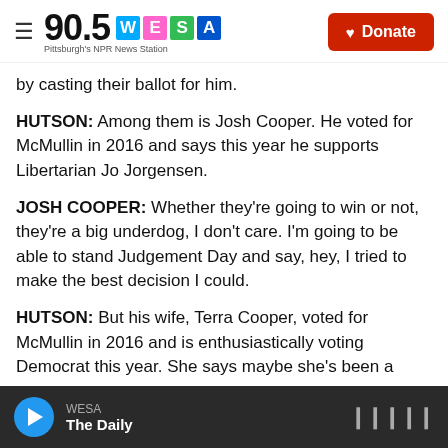90.5 WESA — Pittsburgh's NPR News Station | Donate
by casting their ballot for him.
HUTSON: Among them is Josh Cooper. He voted for McMullin in 2016 and says this year he supports Libertarian Jo Jorgensen.
JOSH COOPER: Whether they're going to win or not, they're a big underdog, I don't care. I'm going to be able to stand Judgement Day and say, hey, I tried to make the best decision I could.
HUTSON: But his wife, Terra Cooper, voted for McMullin in 2016 and is enthusiastically voting Democrat this year. She says maybe she's been a
WESA — The Daily